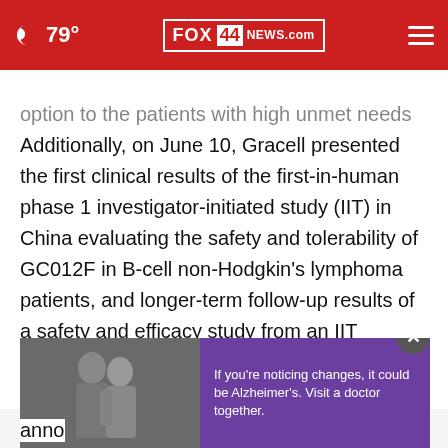79° FOX 44 NEWS.com
option to the patients with high unmet needs
Additionally, on June 10, Gracell presented the first clinical results of the first-in-human phase 1 investigator-initiated study (IIT) in China evaluating the safety and tolerability of GC012F in B-cell non-Hodgkin's lymphoma patients, and longer-term follow-up results of a safety and efficacy study from an IIT evaluating allogeneic TruUCAR-T GC502 in patients with B-cell a[truncated] anno[truncated] May
[Figure (screenshot): Advertisement overlay showing two people and text: 'If you're noticing changes, it could be Alzheimer's. Visit a doctor together.' with a close button.]